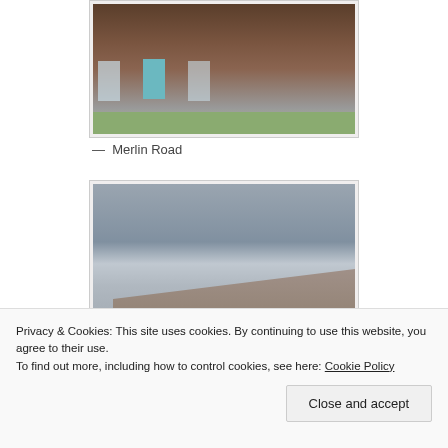[Figure (photo): Photograph of a brick residential building (Merlin Road) showing multiple flats with windows and a teal/blue door, green shrubs and grass in front, taken from street level.]
— Merlin Road
[Figure (photo): Photograph of a modern flat-roofed residential building against a grey overcast sky, with trees visible on the left.]
Privacy & Cookies: This site uses cookies. By continuing to use this website, you agree to their use.
To find out more, including how to control cookies, see here: Cookie Policy
Close and accept